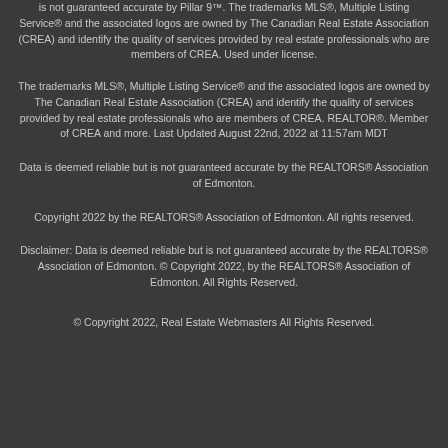is not guaranteed accurate by Pillar 9™. The trademarks MLS®, Multiple Listing Service® and the associated logos are owned by The Canadian Real Estate Association (CREA) and identify the quality of services provided by real estate professionals who are members of CREA. Used under license.
The trademarks MLS®, Multiple Listing Service® and the associated logos are owned by The Canadian Real Estate Association (CREA) and identify the quality of services provided by real estate professionals who are members of CREA. REALTOR®. Member of CREA and more. Last Updated August 22nd, 2022 at 11:57am MDT
Data is deemed reliable but is not guaranteed accurate by the REALTORS® Association of Edmonton.
Copyright 2022 by the REALTORS® Association of Edmonton. All rights reserved.
Disclaimer: Data is deemed reliable but is not guaranteed accurate by the REALTORS® Association of Edmonton. © Copyright 2022, by the REALTORS® Association of Edmonton. All Rights Reserved.
© Copyright 2022, Real Estate Webmasters All Rights Reserved.